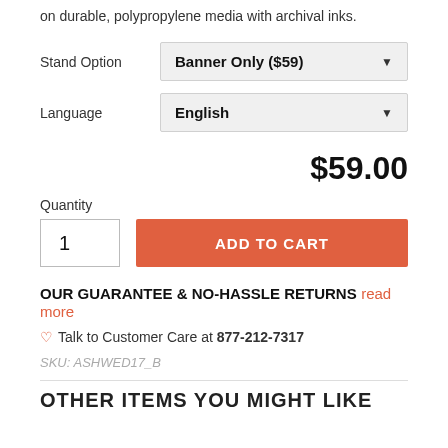on durable, polypropylene media with archival inks.
Stand Option: Banner Only ($59)
Language: English
$59.00
Quantity
1
ADD TO CART
OUR GUARANTEE & NO-HASSLE RETURNS read more
♡ Talk to Customer Care at 877-212-7317
SKU: ASHWED17_B
OTHER ITEMS YOU MIGHT LIKE